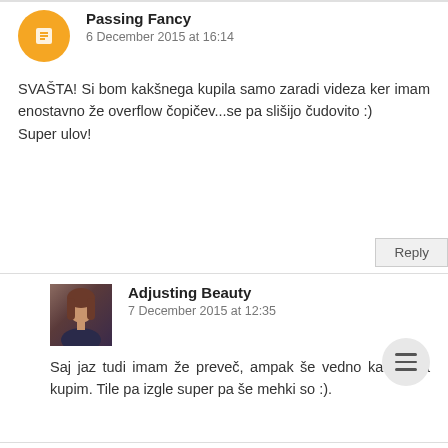Passing Fancy
6 December 2015 at 16:14
SVAŠTA! Si bom kakšnega kupila samo zaradi videza ker imam enostavno že overflow čopičev...se pa slišijo čudovito :)
Super ulov!
Reply
Adjusting Beauty
7 December 2015 at 12:35
Saj jaz tudi imam že preveč, ampak še vedno kakšnega kupim. Tile pa izgle super pa še mehki so :).